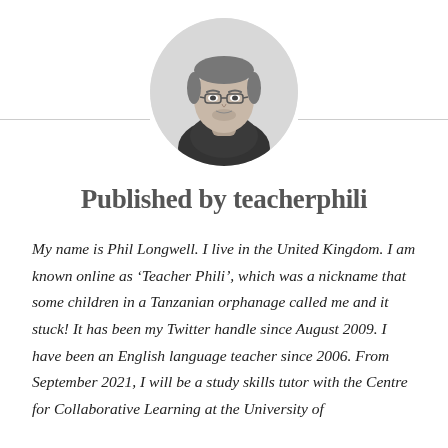[Figure (photo): Black and white circular profile photo of a man with glasses and short hair, wearing a dark hoodie]
Published by teacherphili
My name is Phil Longwell. I live in the United Kingdom. I am known online as ‘Teacher Phili’, which was a nickname that some children in a Tanzanian orphanage called me and it stuck! It has been my Twitter handle since August 2009. I have been an English language teacher since 2006. From September 2021, I will be a study skills tutor with the Centre for Collaborative Learning at the University of